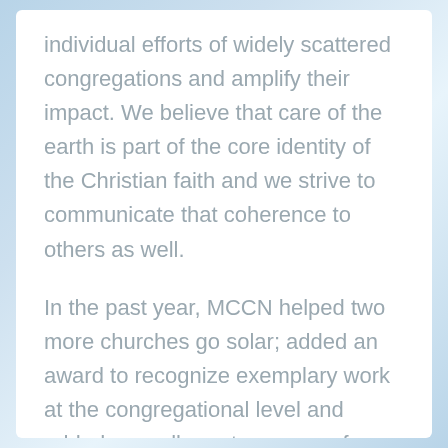individual efforts of widely scattered congregations and amplify their impact. We believe that care of the earth is part of the core identity of the Christian faith and we strive to communicate that coherence to others as well.
In the past year, MCCN helped two more churches go solar; added an award to recognize exemplary work at the congregational level and added a small grants program for congregations. During the last 15 months, we also provided background support and some input to the pastoral retreats on climate change